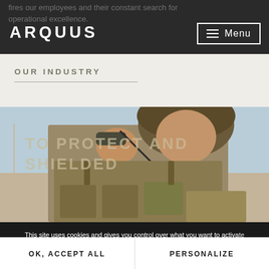ARQUUS | Menu
fires our employees and their constant search for operational excellence.
OUR INDUSTRY
[Figure (photo): A soldier in full military gear and helmet holding a radio handset to his face, wearing tactical vest with pouches, outdoor desert/arid environment background.]
TO PROTECT AND SHIELDED
This site uses cookies and gives you control over what you want to activate. To learn more about cookies, click here
OK, ACCEPT ALL
PERSONALIZE